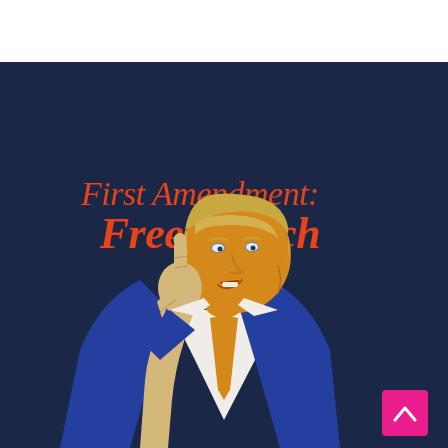[Figure (illustration): Illustration on dark navy blue background showing a caricature of Donald Trump in a blue suit with orange tie, pointing upward with his right index finger. Above the figure, bold text reads 'First Amendment: Free Speech' in orange/red lettering. A white bar appears at the top of the image. A pink/magenta scroll-to-top button with a caret/chevron icon is in the bottom-right corner.]